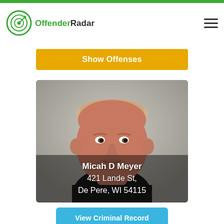OffenderRadar
Show Offenses
[Figure (photo): Mugshot photo of Micah D Meyer, a middle-aged white male with short light hair wearing a black shirt, with name and address overlay: Micah D Meyer, 421 Lande St, De Pere, WI 54115]
View Criminal Record